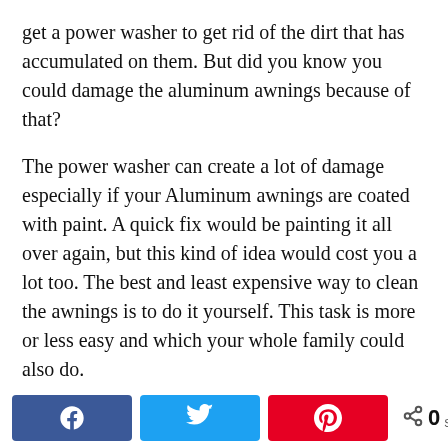get a power washer to get rid of the dirt that has accumulated on them. But did you know you could damage the aluminum awnings because of that?
The power washer can create a lot of damage especially if your Aluminum awnings are coated with paint. A quick fix would be painting it all over again, but this kind of idea would cost you a lot too. The best and least expensive way to clean the awnings is to do it yourself. This task is more or less easy and which your whole family could also do.
The materials that would be needed are not at all expensive since all you need is one large bucket, a soft brush that is attached to a pole that you could be able to reach high places without climbing a ladder, rags, solvent